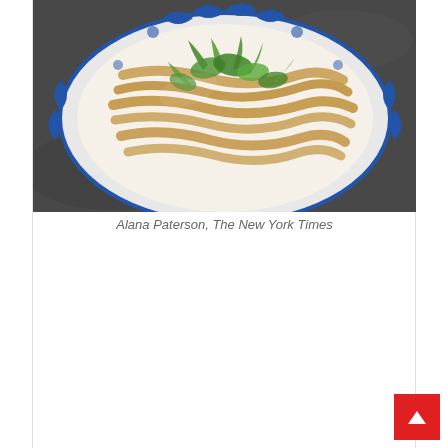[Figure (photo): Overhead photograph of a decorative blue-and-white patterned plate containing wide noodles stir-fried with green vegetables (likely bok choy or Chinese broccoli), on a dark stone surface.]
Alana Paterson, The New York Times